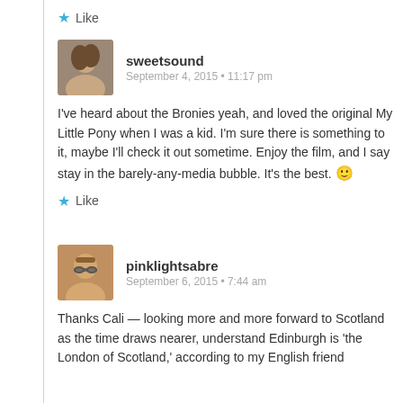Like
[Figure (photo): Avatar photo of sweetsound, a young woman]
sweetsound
September 4, 2015 • 11:17 pm
I've heard about the Bronies yeah, and loved the original My Little Pony when I was a kid. I'm sure there is something to it, maybe I'll check it out sometime. Enjoy the film, and I say stay in the barely-any-media bubble. It's the best. 🙂
Like
[Figure (photo): Avatar photo of pinklightsabre, a man with glasses]
pinklightsabre
September 6, 2015 • 7:44 am
Thanks Cali — looking more and more forward to Scotland as the time draws nearer, understand Edinburgh is 'the London of Scotland,' according to my English friend